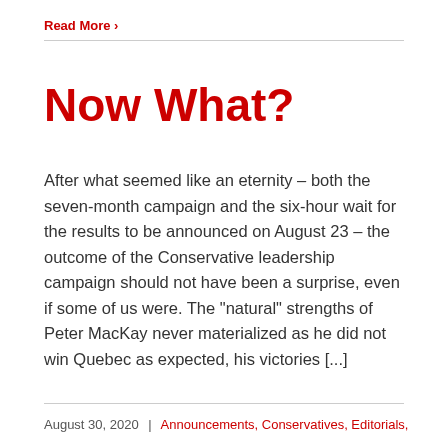Read More >
Now What?
After what seemed like an eternity – both the seven-month campaign and the six-hour wait for the results to be announced on August 23 – the outcome of the Conservative leadership campaign should not have been a surprise, even if some of us were. The “natural” strengths of Peter MacKay never materialized as he did not win Quebec as expected, his victories [...]
August 30, 2020 | Announcements, Conservatives, Editorials,